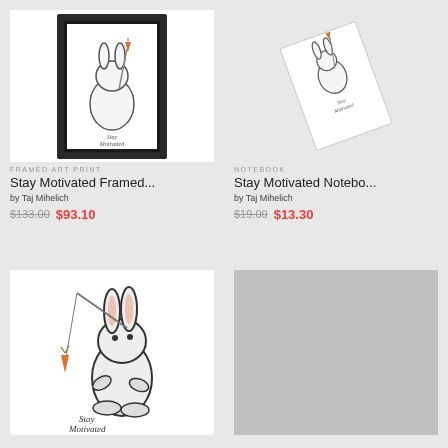[Figure (illustration): Framed art print showing a bunny holding a carrot on a stick, with text 'Stay Motivated']
FRAMED ART PRINT
Stay Motivated Framed...
by Taj Mihelich
$133.00  $93.10
[Figure (illustration): Notebook showing a bunny illustration with text 'Stay Motivated', displayed at an angle]
NOTEBOOK
Stay Motivated Notebo...
by Taj Mihelich
$19.00  $13.30
[Figure (illustration): Art print showing a large bunny looking at a dangling carrot on a stick, with text 'Stay Motivated' at the bottom]
[Figure (illustration): Gray placeholder image]